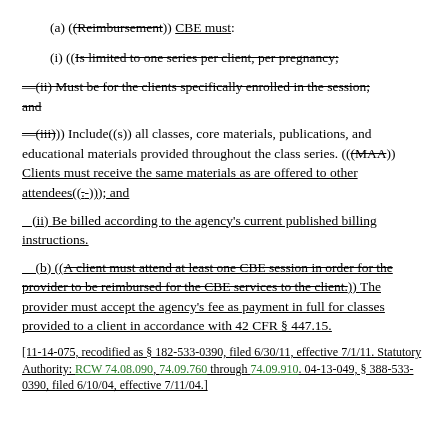(a) ((Reimbursement)) CBE must:
(i) ((Is limited to one series per client, per pregnancy;
—(ii) Must be for the clients specifically enrolled in the session; and
—(iii))) Include((s)) all classes, core materials, publications, and educational materials provided throughout the class series. (((MAA)) Clients must receive the same materials as are offered to other attendees((.-))); and
(ii) Be billed according to the agency's current published billing instructions.
(b) ((A client must attend at least one CBE session in order for the provider to be reimbursed for the CBE services to the client.)) The provider must accept the agency's fee as payment in full for classes provided to a client in accordance with 42 CFR § 447.15.
[11-14-075, recodified as § 182-533-0390, filed 6/30/11, effective 7/1/11. Statutory Authority: RCW 74.08.090, 74.09.760 through 74.09.910. 04-13-049, § 388-533-0390, filed 6/10/04, effective 7/11/04.]